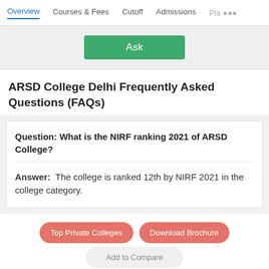Overview   Courses & Fees   Cutoff   Admissions   Pla...
[Figure (screenshot): Ask button on a gray background bar]
ARSD College Delhi Frequently Asked Questions (FAQs)
Question: What is the NIRF ranking 2021 of ARSD College?
Answer:  The college is ranked 12th by NIRF 2021 in the college category.
Top Private Colleges   Download Brochure   Add to Compare